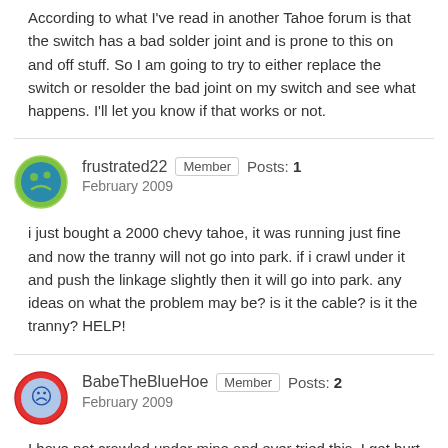According to what I've read in another Tahoe forum is that the switch has a bad solder joint and is prone to this on and off stuff. So I am going to try to either replace the switch or resolder the bad joint on my switch and see what happens. I'll let you know if that works or not.
frustrated22  Member  Posts: 1
February 2009
i just bought a 2000 chevy tahoe, it was running just fine and now the tranny will not go into park. if i crawl under it and push the linkage slightly then it will go into park. any ideas on what the problem may be? is it the cable? is it the tranny? HELP!
BabeTheBlueHoe  Member  Posts: 2
February 2009
I have not crawled under mine and ever tried this, I get hurt